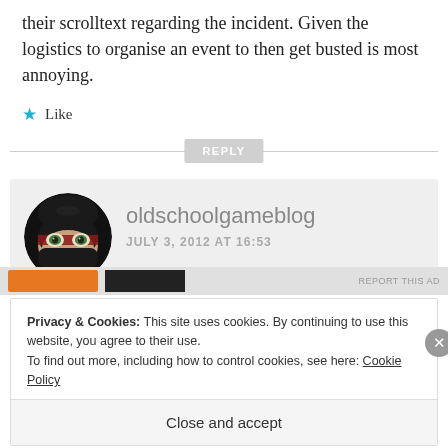their scrolltext regarding the incident. Given the logistics to organise an event to then get busted is most annoying.
★ Like
REPLY
oldschoolgameblog
JULY 3, 2012 AT 16:53
Privacy & Cookies: This site uses cookies. By continuing to use this website, you agree to their use.
To find out more, including how to control cookies, see here: Cookie Policy
Close and accept